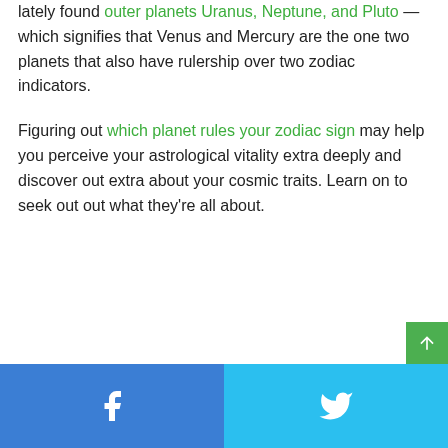lately found outer planets Uranus, Neptune, and Pluto — which signifies that Venus and Mercury are the one two planets that also have rulership over two zodiac indicators.
Figuring out which planet rules your zodiac sign may help you perceive your astrological vitality extra deeply and discover out extra about your cosmic traits. Learn on to seek out out what they're all about.
Facebook Twitter share buttons